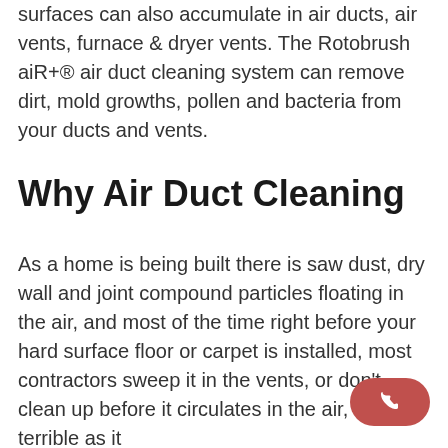surfaces can also accumulate in air ducts, air vents, furnace & dryer vents. The Rotobrush aiR+® air duct cleaning system can remove dirt, mold growths, pollen and bacteria from your ducts and vents.
Why Air Duct Cleaning
As a home is being built there is saw dust, dry wall and joint compound particles floating in the air, and most of the time right before your hard surface floor or carpet is installed, most contractors sweep it in the vents, or don't clean up before it circulates in the air, as terrible as it